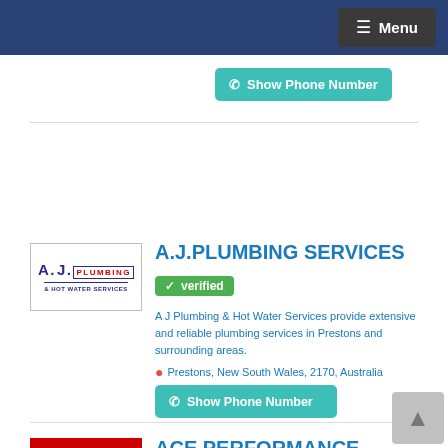≡ Menu
Show Phone Number
A.J.PLUMBING SERVICES
verified
A J Plumbing & Hot Water Services provide extensive and reliable plumbing services in Prestons and surrounding areas.
Prestons, New South Wales, 2170, Australia
Show Phone Number
ACE PERFORMANCE PLUMBING PTY LTD
verified
Ace Performance Plumbing stands apart from our competitors